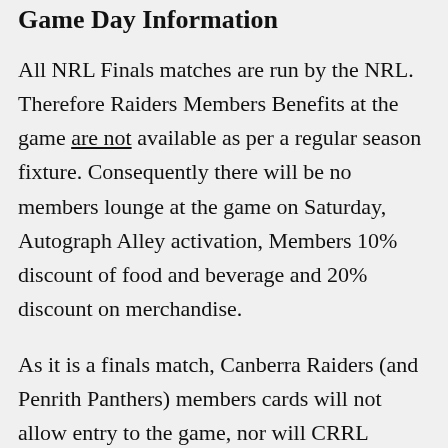Game Day Information
All NRL Finals matches are run by the NRL. Therefore Raiders Members Benefits at the game are not available as per a regular season fixture. Consequently there will be no members lounge at the game on Saturday, Autograph Alley activation, Members 10% discount of food and beverage and 20% discount on merchandise.
As it is a finals match, Canberra Raiders (and Penrith Panthers) members cards will not allow entry to the game, nor will CRRL Membership Cards or NRL Rewards Cards. Regular NRL Season ticket allocation...